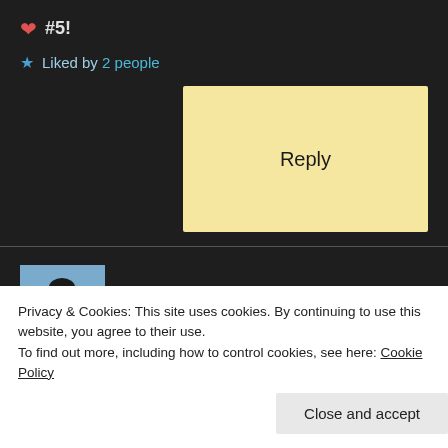❤ #5!
★ Liked by 2 people
Reply
[Figure (photo): Avatar photo of commenter Isha — woman with dark hair outdoors]
Isha
September 9, 2021 at 1:36 pm
Privacy & Cookies: This site uses cookies. By continuing to use this website, you agree to their use.
To find out more, including how to control cookies, see here: Cookie Policy
Close and accept